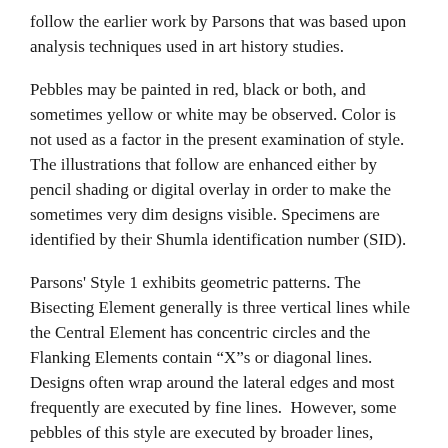follow the earlier work by Parsons that was based upon analysis techniques used in art history studies.
Pebbles may be painted in red, black or both, and sometimes yellow or white may be observed. Color is not used as a factor in the present examination of style. The illustrations that follow are enhanced either by pencil shading or digital overlay in order to make the sometimes very dim designs visible. Specimens are identified by their Shumla identification number (SID).
Parsons' Style 1 exhibits geometric patterns. The Bisecting Element generally is three vertical lines while the Central Element has concentric circles and the Flanking Elements contain “X”s or diagonal lines.  Designs often wrap around the lateral edges and most frequently are executed by fine lines.  However, some pebbles of this style are executed by broader lines, prompting a suggestion that two substyles might be defined (Fig. 2).